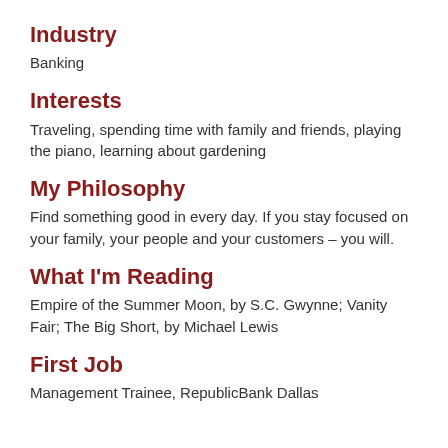Industry
Banking
Interests
Traveling, spending time with family and friends, playing the piano, learning about gardening
My Philosophy
Find something good in every day. If you stay focused on your family, your people and your customers – you will.
What I'm Reading
Empire of the Summer Moon, by S.C. Gwynne; Vanity Fair; The Big Short, by Michael Lewis
First Job
Management Trainee, RepublicBank Dallas